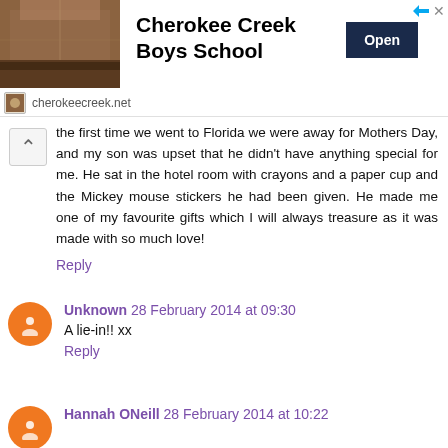[Figure (screenshot): Ad banner for Cherokee Creek Boys School with photo of large indoor venue, school name, Open button, and cherokeecreek.net domain]
the first time we went to Florida we were away for Mothers Day, and my son was upset that he didn't have anything special for me. He sat in the hotel room with crayons and a paper cup and the Mickey mouse stickers he had been given. He made me one of my favourite gifts which I will always treasure as it was made with so much love!
Reply
Unknown 28 February 2014 at 09:30
A lie-in!! xx
Reply
Hannah ONeill 28 February 2014 at 10:22